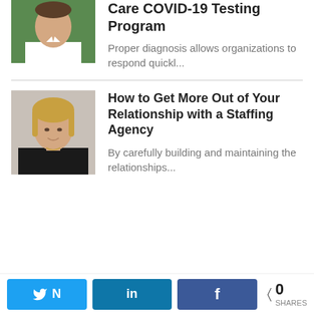[Figure (photo): Headshot of a man in white shirt with green background, cropped at top]
Care COVID-19 Testing Program
Proper diagnosis allows organizations to respond quickl...
[Figure (photo): Headshot of a woman with blonde hair in dark jacket]
How to Get More Out of Your Relationship with a Staffing Agency
By carefully building and maintaining the relationships...
Twitter share button, LinkedIn share button, Facebook share button, 0 SHARES